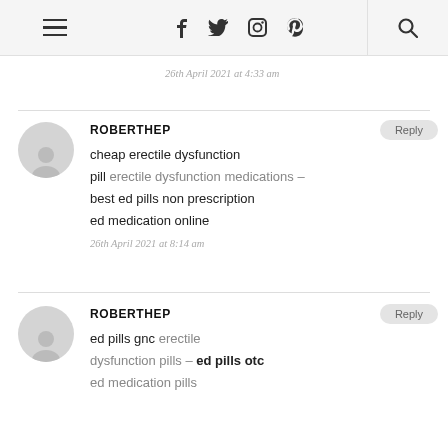Navigation bar with hamburger menu, social icons (f, twitter, instagram, pinterest), and search icon
26th April 2021 at 4:33 am
ROBERTHEP
cheap erectile dysfunction pill erectile dysfunction medications – best ed pills non prescription ed medication online
26th April 2021 at 8:14 am
ROBERTHEP
ed pills gnc erectile dysfunction pills – ed pills otc ed medication pills